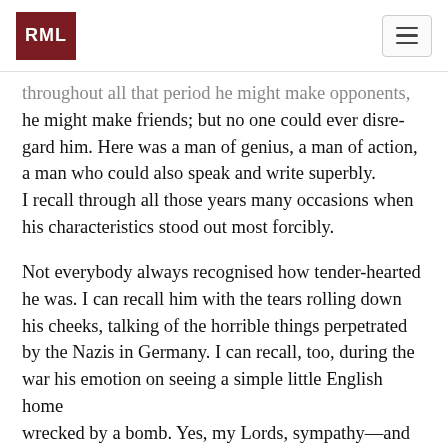RML
throughout all that period he might make opponents, he might make friends; but no one could ever disregard him. Here was a man of genius, a man of action, a man who could also speak and write superbly. I recall through all those years many occasions when his characteristics stood out most forcibly.
Not everybody always recognised how tender-hearted he was. I can recall him with the tears rolling down his cheeks, talking of the horrible things perpetrated by the Nazis in Germany. I can recall, too, during the war his emotion on seeing a simple little English home wrecked by a bomb. Yes, my Lords, sympathy—and more than that: he went back, and immediately devised the War Damage Act. How characteristic: Sympathy did not stop with emotion; it turned into